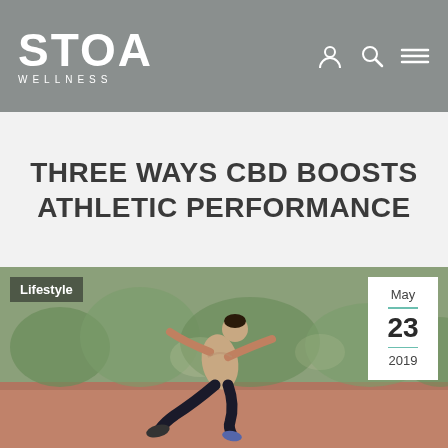STOA WELLNESS
THREE WAYS CBD BOOSTS ATHLETIC PERFORMANCE
[Figure (photo): A shirtless male athlete in black leggings sprinting explosively off the starting position on a red running track, with blurred green trees in the background. Overlaid with a 'Lifestyle' tag in the top left and a date badge showing May 23 2019 in the top right.]